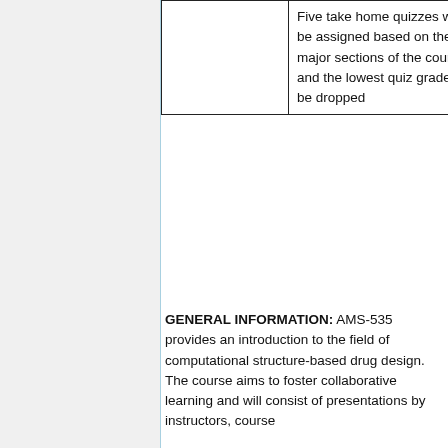|  | Five take home quizzes will be assigned based on the 5 major sections of the course and the lowest quiz grade will be dropped |
GENERAL INFORMATION: AMS-535 provides an introduction to the field of computational structure-based drug design. The course aims to foster collaborative learning and will consist of presentations by instructors, course...